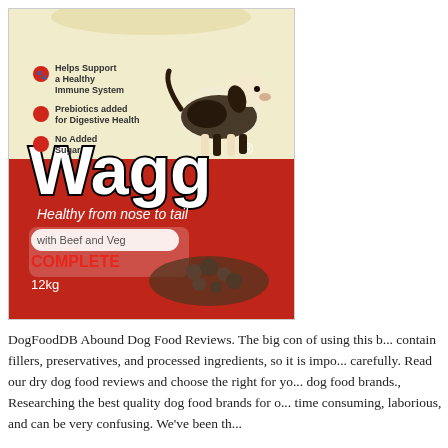[Figure (photo): Wagg dog food product package — 12kg bag with Beef and Veg Complete. Red and cream/yellow bag featuring a black and white springer spaniel dog. Text on package: 'Helps Support a Healthy Immune System', 'Prebiotics added for Digestive Health', 'No Added Sugar', 'Wagg®', 'Healthy from nose to tail', 'with Beef and Veg', 'COMPLETE', '12kg'.]
DogFoodDB Abound Dog Food Reviews. The big con of using this b... contain fillers, preservatives, and processed ingredients, so it is impo... carefully. Read our dry dog food reviews and choose the right for yo... dog food brands., Researching the best quality dog food brands for o... time consuming, laborious, and can be very confusing. We've been th...